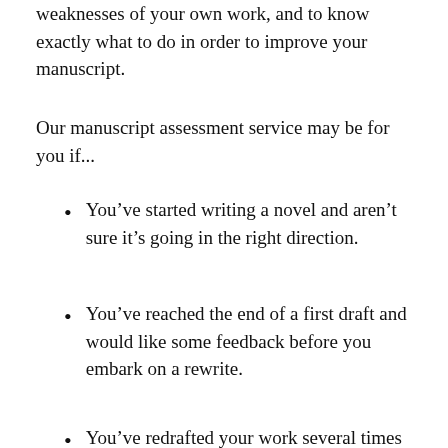weaknesses of your own work, and to know exactly what to do in order to improve your manuscript.
Our manuscript assessment service may be for you if...
You’ve started writing a novel and aren’t sure it’s going in the right direction.
You’ve reached the end of a first draft and would like some feedback before you embark on a rewrite.
You’ve redrafted your work several times and would like some feedback before you move on